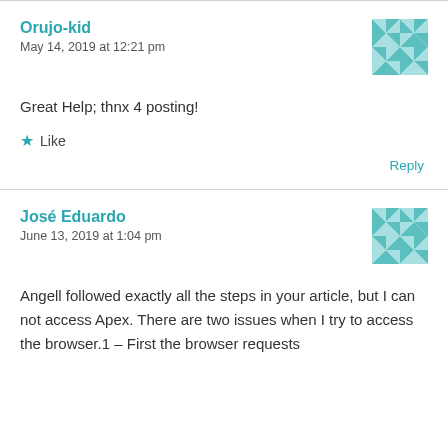Orujo-kid
May 14, 2019 at 12:21 pm
Great Help; thnx 4 posting!
Like
Reply
José Eduardo
June 13, 2019 at 1:04 pm
Angell followed exactly all the steps in your article, but I can not access Apex. There are two issues when I try to access the browser.1 – First the browser requests